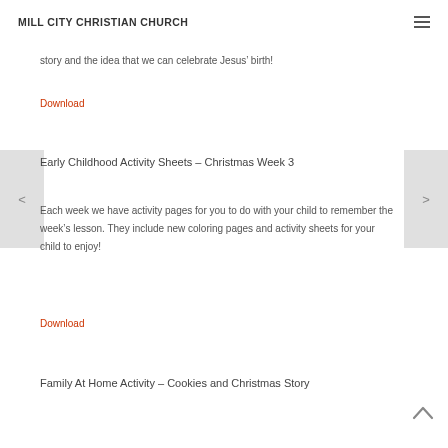MILL CITY CHRISTIAN CHURCH
story and the idea that we can celebrate Jesus' birth!
Download
Early Childhood Activity Sheets – Christmas Week 3
Each week we have activity pages for you to do with your child to remember the week's lesson. They include new coloring pages and activity sheets for your child to enjoy!
Download
Family At Home Activity – Cookies and Christmas Story